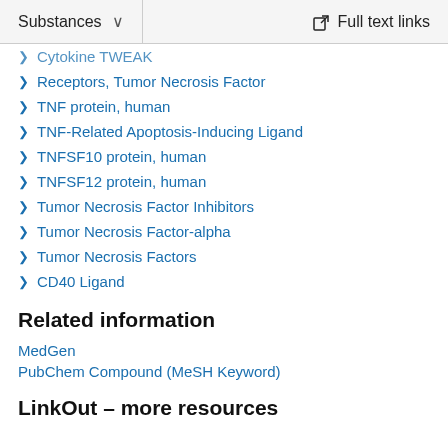Substances   Full text links
Cytokine TWEAK
Receptors, Tumor Necrosis Factor
TNF protein, human
TNF-Related Apoptosis-Inducing Ligand
TNFSF10 protein, human
TNFSF12 protein, human
Tumor Necrosis Factor Inhibitors
Tumor Necrosis Factor-alpha
Tumor Necrosis Factors
CD40 Ligand
Related information
MedGen
PubChem Compound (MeSH Keyword)
LinkOut – more resources